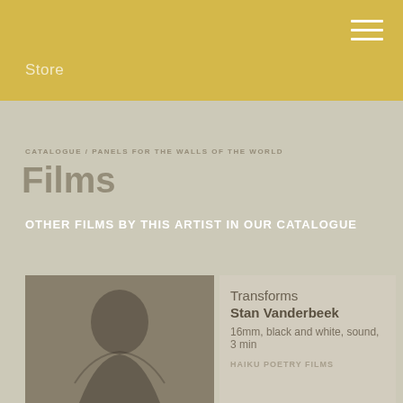Store
CATALOGUE / PANELS FOR THE WALLS OF THE WORLD
Films
OTHER FILMS BY THIS ARTIST IN OUR CATALOGUE
[Figure (photo): Black and white film still thumbnail showing a person silhouette]
Transforms
Stan Vanderbeek
16mm, black and white, sound, 3 min